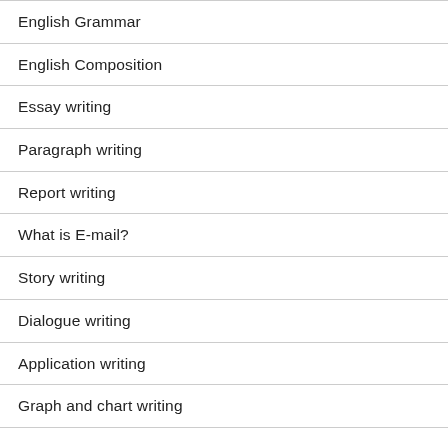English Grammar
English Composition
Essay writing
Paragraph writing
Report writing
What is E-mail?
Story writing
Dialogue writing
Application writing
Graph and chart writing